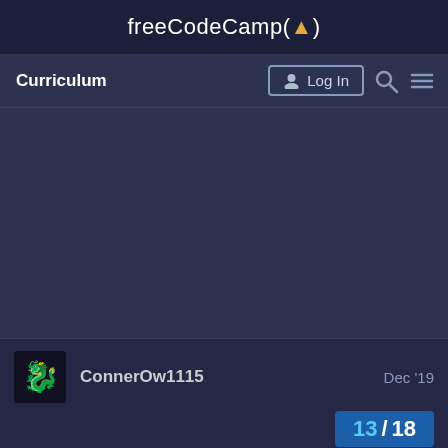freeCodeCamp(🔥)
Curriculum
Log In
ConnerOw1115  Dec '19
13/18
The d...all f...b...in...e...it...